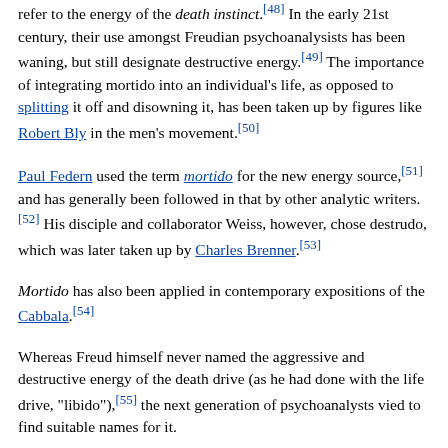refer to the energy of the death instinct.[48] In the early 21st century, their use amongst Freudian psychoanalysists has been waning, but still designate destructive energy.[49] The importance of integrating mortido into an individual's life, as opposed to splitting it off and disowning it, has been taken up by figures like Robert Bly in the men's movement.[50]
Paul Federn used the term mortido for the new energy source,[51] and has generally been followed in that by other analytic writers.[52] His disciple and collaborator Weiss, however, chose destrudo, which was later taken up by Charles Brenner.[53]
Mortido has also been applied in contemporary expositions of the Cabbala.[54]
Whereas Freud himself never named the aggressive and destructive energy of the death drive (as he had done with the life drive, "libido"),[55] the next generation of psychoanalysts vied to find suitable names for it.
Literary criticism has been almost more prepared than psychoanalysis to make at least metaphorical use of the term 'Destrudo'. Artistic images were seen by Joseph Campbell in terms of "incestuous 'libido' and patricidal 'destrudo'";[56] while literary